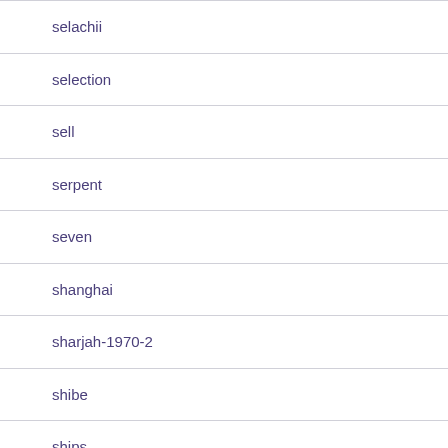selachii
selection
sell
serpent
seven
shanghai
sharjah-1970-2
shibe
ships